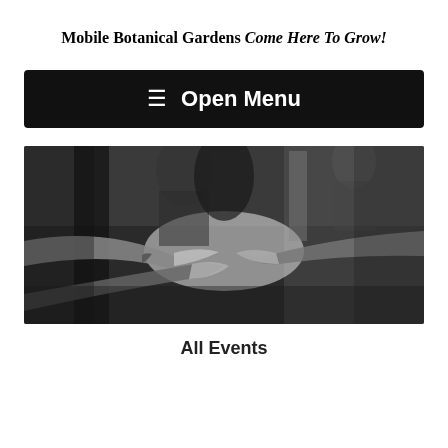Mobile Botanical Gardens
Come Here To Grow!
[Figure (screenshot): Black navigation bar with hamburger menu icon and 'Open Menu' text in white]
[Figure (photo): Black and white photograph of people's hands meeting/shaking in the center, with blurred figures in the background]
All Events